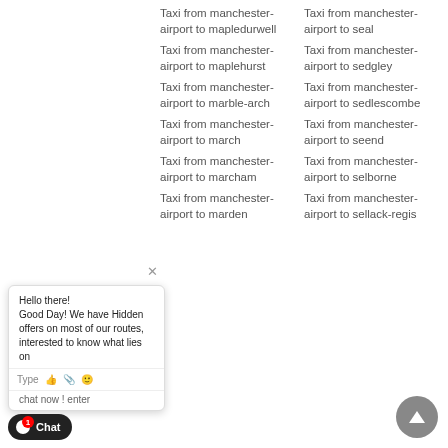Taxi from manchester-airport to mapledurwell
Taxi from manchester-airport to seal
Taxi from manchester-airport to maplehurst
Taxi from manchester-airport to sedgley
Taxi from manchester-airport to marble-arch
Taxi from manchester-airport to sedlescombe
Taxi from manchester-airport to march
Taxi from manchester-airport to seend
Taxi from manchester-airport to marcham
Taxi from manchester-airport to selborne
Taxi from manchester-airport to marden
Taxi from manchester-airport to sellack-regis